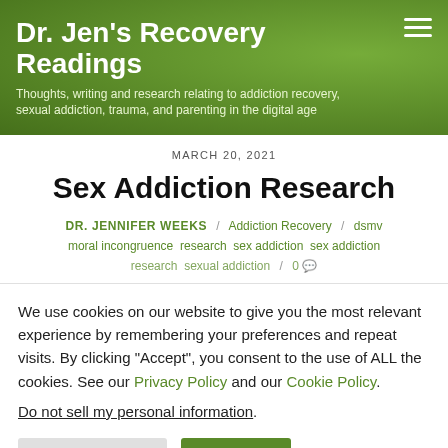Dr. Jen's Recovery Readings — Thoughts, writing and research relating to addiction recovery, sexual addiction, trauma, and parenting in the digital age
MARCH 20, 2021
Sex Addiction Research
DR. JENNIFER WEEKS / Addiction Recovery / dsmv moral incongruence research sex addiction sex addiction research sexual addiction / 0
We use cookies on our website to give you the most relevant experience by remembering your preferences and repeat visits. By clicking "Accept", you consent to the use of ALL the cookies. See our Privacy Policy and our Cookie Policy.
Do not sell my personal information.
Cookie Settings | Accept